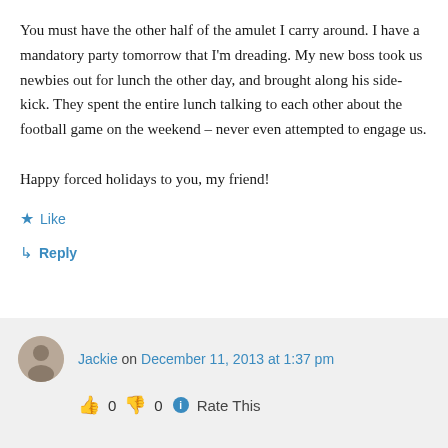You must have the other half of the amulet I carry around. I have a mandatory party tomorrow that I'm dreading. My new boss took us newbies out for lunch the other day, and brought along his side-kick. They spent the entire lunch talking to each other about the football game on the weekend – never even attempted to engage us.

Happy forced holidays to you, my friend!
★ Like
↳ Reply
Jackie on December 11, 2013 at 1:37 pm
👍 0 👎 0 ℹ Rate This